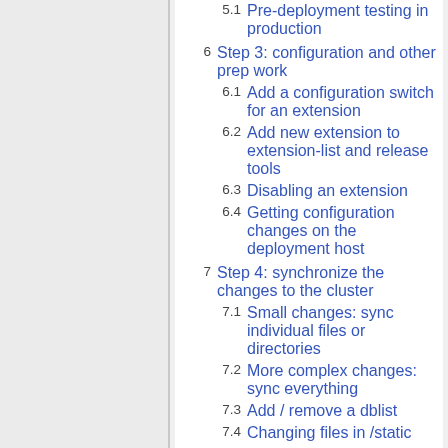5.1 Pre-deployment testing in production
6 Step 3: configuration and other prep work
6.1 Add a configuration switch for an extension
6.2 Add new extension to extension-list and release tools
6.3 Disabling an extension
6.4 Getting configuration changes on the deployment host
7 Step 4: synchronize the changes to the cluster
7.1 Small changes: sync individual files or directories
7.2 More complex changes: sync everything
7.3 Add / remove a dblist
7.4 Changing files in /static
8 Test and monitor your live code